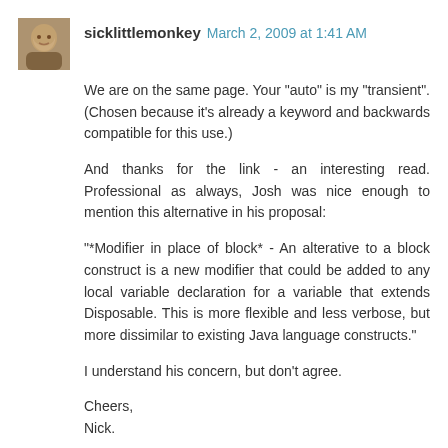[Figure (photo): Small avatar photo of a person, appears to be a man]
sicklittlemonkey March 2, 2009 at 1:41 AM
We are on the same page. Your "auto" is my "transient". (Chosen because it's already a keyword and backwards compatible for this use.)
And thanks for the link - an interesting read. Professional as always, Josh was nice enough to mention this alternative in his proposal:
"*Modifier in place of block* - An alterative to a block construct is a new modifier that could be added to any local variable declaration for a variable that extends Disposable. This is more flexible and less verbose, but more dissimilar to existing Java language constructs."
I understand his concern, but don't agree.
Cheers,
Nick.